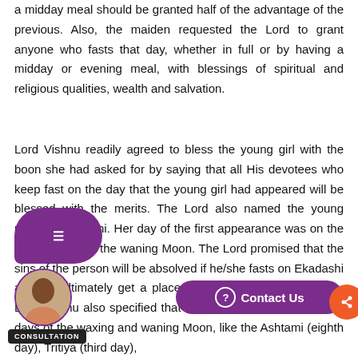a midday meal should be granted half of the advantage of the previous. Also, the maiden requested the Lord to grant anyone who fasts that day, whether in full or by having a midday or evening meal, with blessings of spiritual and religious qualities, wealth and salvation.
Lord Vishnu readily agreed to bless the young girl with the boon she had asked for by saying that all His devotees who keep fast on the day that the young girl had appeared will be blessed with the merits. The Lord also named the young maiden Ekadashi. Her day of the first appearance was on the eleventh day of the waning Moon. The Lord promised that the sins of the person will be absolved if he/she fasts on Ekadashi and will ultimately get a place in the transcendental abode. Lord Vishnu also specified that along with His other favourite days of the waxing and waning Moon, like the Ashtami (eighth day), Tritiya (third day), and Navami (ninth day), the best fasting on Ekadashi will bring the blessings